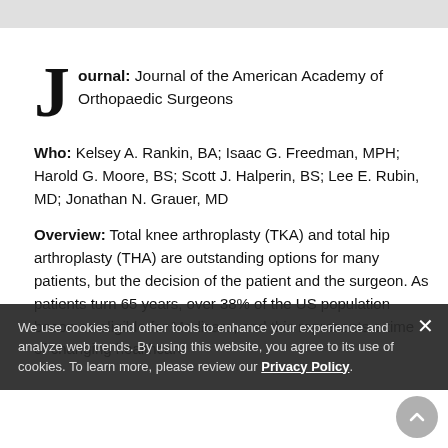Journal: Journal of the American Academy of Orthopaedic Surgeons
Who: Kelsey A. Rankin, BA; Isaac G. Freedman, MPH; Harold G. Moore, BS; Scott J. Halperin, BS; Lee E. Rubin, MD; Jonathan N. Grauer, MD
Overview: Total knee arthroplasty (TKA) and total hip arthroplasty (THA) are outstanding options for many patients, but the decision of the patient and the surgeon. As patients turn 65 years, over 38% of the US population becomes eligible for Medicare, and this represents a time of changing healthcare